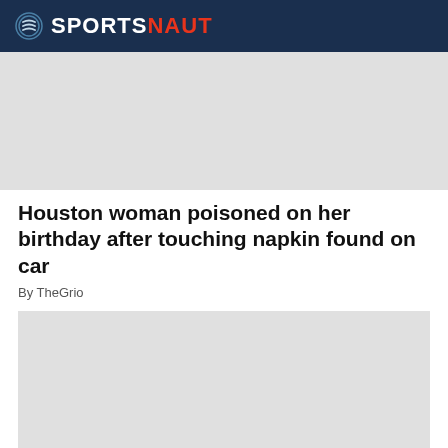SPORTSNAUT
[Figure (other): Gray advertisement placeholder block (top)]
Houston woman poisoned on her birthday after touching napkin found on car
By TheGrio
[Figure (other): Gray advertisement placeholder block (main)]
Sportsnaut logo and social media icons: Facebook, Twitter, LinkedIn, Instagram, YouTube